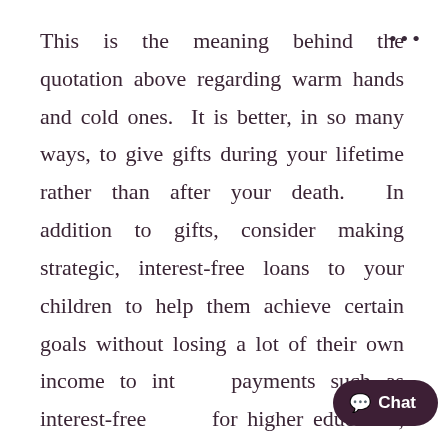This is the meaning behind the quotation above regarding warm hands and cold ones.  It is better, in so many ways, to give gifts during your lifetime rather than after your death.  In addition to gifts, consider making strategic, interest-free loans to your children to help them achieve certain goals without losing a lot of their own income to interest payments such as interest-free loans for higher education, for private